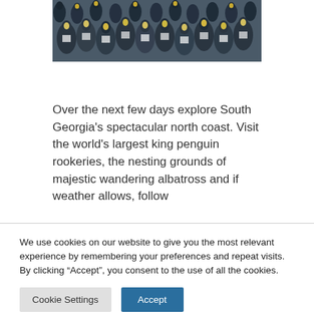[Figure (photo): A dense crowd of king penguins packed together, showing their distinctive black, white, and yellow coloring, viewed from above at close range.]
Over the next few days explore South Georgia's spectacular north coast. Visit the world's largest king penguin rookeries, the nesting grounds of majestic wandering albatross and if weather allows, follow
We use cookies on our website to give you the most relevant experience by remembering your preferences and repeat visits. By clicking “Accept”, you consent to the use of all the cookies.